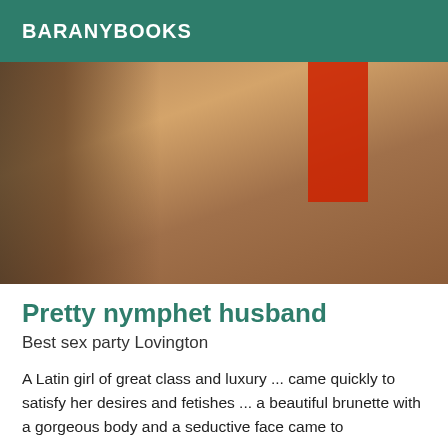BARANYBOOKS
[Figure (photo): Close-up photo of a woman's lower body wearing white lace underwear, with a floral tattoo on the hip/thigh, draped in red fabric, indoor setting with basket in background.]
Pretty nymphet husband
Best sex party Lovington
A Latin girl of great class and luxury ... came quickly to satisfy her desires and fetishes ... a beautiful brunette with a gorgeous body and a seductive face came to